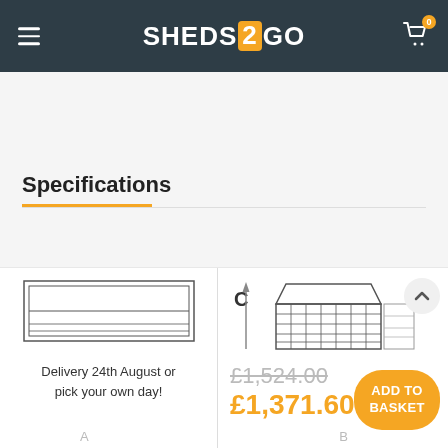SHEDS2GO
Specifications
[Figure (engineering-diagram): Technical drawing showing front elevation and side view of a garden shed with apex roof. The left panel shows a rectangular outline (front view). The right panel shows a building with apex/pitched roof and siding panels, with dimension label C and an arrow indicating height.]
Delivery 24th August or pick your own day!
£1,524.00 £1,371.60